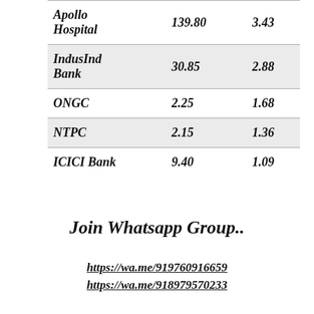| Apollo Hospital | 139.80 | 3.43 |
| IndusInd Bank | 30.85 | 2.88 |
| ONGC | 2.25 | 1.68 |
| NTPC | 2.15 | 1.36 |
| ICICI Bank | 9.40 | 1.09 |
Join Whatsapp Group..
https://wa.me/919760916659
https://wa.me/918979570233